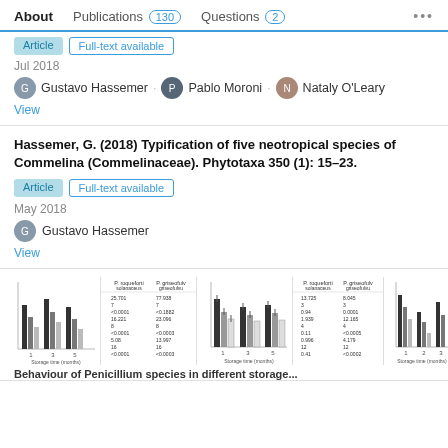About  Publications 130  Questions 2  ...
Jul 2018
Gustavo Hassemer · Pablo Moroni · Nataly O'Leary
View
Hassemer, G. (2018) Typification of five neotropical species of Commelina (Commelinaceae). Phytotaxa 350 (1): 15–23.
Article  Full-text available
May 2018
Gustavo Hassemer
View
[Figure (other): Thumbnail images showing bar charts and data tables from a publication about Penicillium species at different storage times]
Behaviour of Penicillium species in different storage...